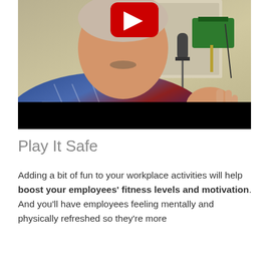[Figure (photo): A man in a blue plaid shirt sitting at a desk with a microphone and green desk lamp, with a YouTube play button overlay at the top center. The lower portion of the video thumbnail is a black bar.]
Play It Safe
Adding a bit of fun to your workplace activities will help boost your employees' fitness levels and motivation. And you'll have employees feeling mentally and physically refreshed so they're more